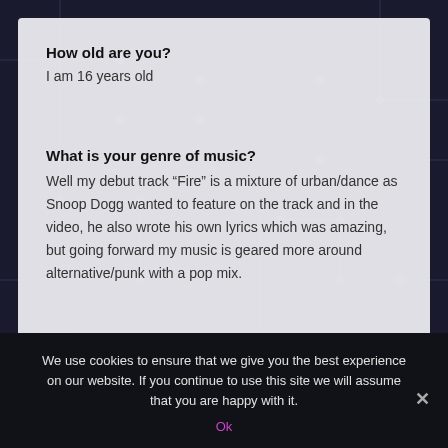How old are you?
I am 16 years old
What is your genre of music?
Well my debut track “Fire” is a mixture of urban/dance as Snoop Dogg wanted to feature on the track and in the video, he also wrote his own lyrics which was amazing, but going forward my music is geared more around alternative/punk with a pop mix.
We use cookies to ensure that we give you the best experience on our website. If you continue to use this site we will assume that you are happy with it.
Ok